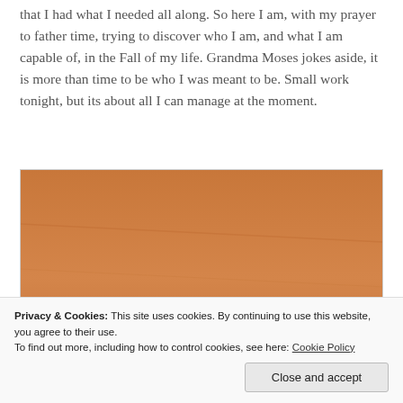that I had what I needed all along. So here I am, with my prayer to father time, trying to discover who I am, and what I am capable of, in the Fall of my life. Grandma Moses jokes aside, it is more than time to be who I was meant to be. Small work tonight, but its about all I can manage at the moment.
[Figure (photo): A sharpened yellow pencil with an orange eraser, lying diagonally on a wooden surface with warm orange-brown tones. The pencil tip is pointed toward the upper right.]
Privacy & Cookies: This site uses cookies. By continuing to use this website, you agree to their use.
To find out more, including how to control cookies, see here: Cookie Policy
Close and accept